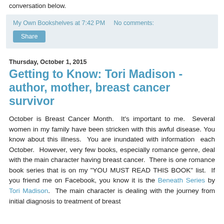conversation below.
My Own Bookshelves at 7:42 PM   No comments:
Share
Thursday, October 1, 2015
Getting to Know: Tori Madison - author, mother, breast cancer survivor
October is Breast Cancer Month.  It's important to me.  Several women in my family have been stricken with this awful disease. You know about this illness.  You are inundated with information  each October.  However, very few books, especially romance genre, deal with the main character having breast cancer.  There is one romance book series that is on my "YOU MUST READ THIS BOOK" list.  If you friend me on Facebook, you know it is the Beneath Series by Tori Madison.  The main character is dealing with the journey from initial diagnosis to treatment of breast